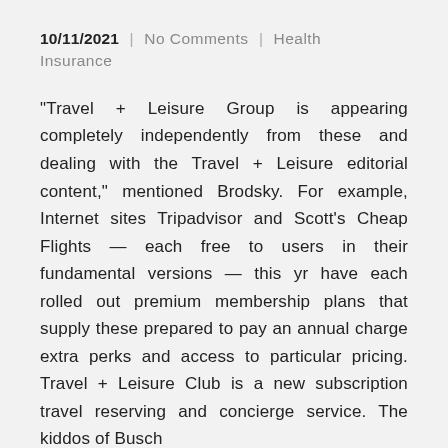10/11/2021   |   No Comments   |   Health Insurance
“Travel + Leisure Group is appearing completely independently from these and dealing with the Travel + Leisure editorial content,” mentioned Brodsky. For example, Internet sites Tripadvisor and Scott’s Cheap Flights — each free to users in their fundamental versions — this yr have each rolled out premium membership plans that supply these prepared to pay an annual charge extra perks and access to particular pricing. Travel + Leisure Club is a new subscription travel reserving and concierge service. The kiddos of Busch